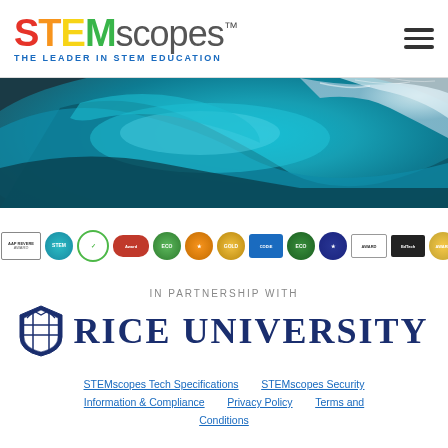[Figure (logo): STEMscopes logo with colorful letters S(red), T(orange), E(yellow), M(green) and 'scopes' in gray, subtitle 'THE LEADER IN STEM EDUCATION' in blue]
[Figure (photo): Hero banner image of a large ocean wave, teal/turquoise water curling overhead]
[Figure (infographic): Row of approximately 15 award and certification badges/logos]
IN PARTNERSHIP WITH
[Figure (logo): Rice University logo: blue crest/shield icon and text 'RICE UNIVERSITY' in large dark navy serif font]
STEMscopes Tech Specifications    STEMscopes Security Information & Compliance    Privacy Policy    Terms and Conditions